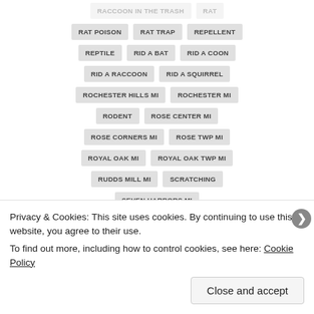RACCOON IN THE TRASH
RAT
RAT POISON
RAT TRAP
REPELLENT
REPTILE
RID A BAT
RID A COON
RID A RACCOON
RID A SQUIRREL
ROCHESTER HILLS MI
ROCHESTER MI
RODENT
ROSE CENTER MI
ROSE CORNERS MI
ROSE TWP MI
ROYAL OAK MI
ROYAL OAK TWP MI
RUDDS MILL MI
SCRATCHING
SEVEN HARBORS MI
SMALL ANIMAL CONTROL
Privacy & Cookies: This site uses cookies. By continuing to use this website, you agree to their use.
To find out more, including how to control cookies, see here: Cookie Policy
Close and accept